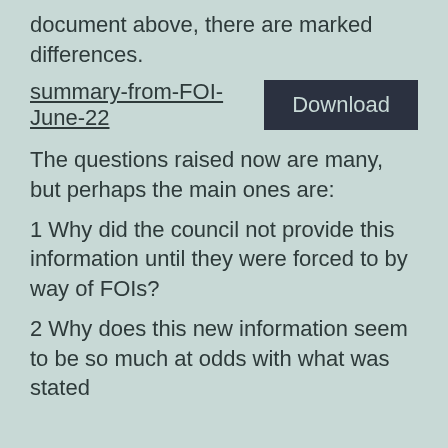document above, there are marked differences.
summary-from-FOI-June-22
Download
The questions raised now are many, but perhaps the main ones are:
1 Why did the council not provide this information until they were forced to by way of FOIs?
2 Why does this new information seem to be so much at odds with what was stated